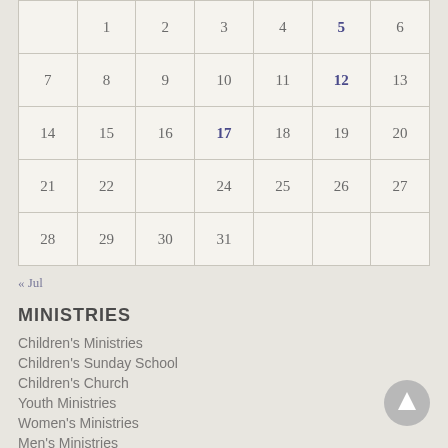|  | 1 | 2 | 3 | 4 | 5 | 6 |
| 7 | 8 | 9 | 10 | 11 | 12 | 13 |
| 14 | 15 | 16 | 17 | 18 | 19 | 20 |
| 21 | 22 |  | 24 | 25 | 26 | 27 |
| 28 | 29 | 30 | 31 |  |  |  |
« Jul
MINISTRIES
Children's Ministries
Children's Sunday School
Children's Church
Youth Ministries
Women's Ministries
Men's Ministries